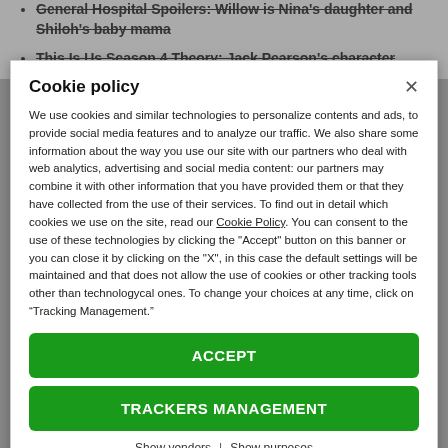General Hospital Spoilers: Willow is Nina's daughter and Shiloh's baby mama
This Is Us Season 4 Theory: Jack Pearson's character
Cookie policy
We use cookies and similar technologies to personalize contents and ads, to provide social media features and to analyze our traffic. We also share some information about the way you use our site with our partners who deal with web analytics, advertising and social media content: our partners may combine it with other information that you have provided them or that they have collected from the use of their services. To find out in detail which cookies we use on the site, read our Cookie Policy. You can consent to the use of these technologies by clicking the "Accept" button on this banner or you can close it by clicking on the "X", in this case the default settings will be maintained and that does not allow the use of cookies or other tracking tools other than technologycal ones. To change your choices at any time, click on “Tracking Management.”
ACCEPT
TRACKERS MANAGEMENT
Show vendors | Show purposes